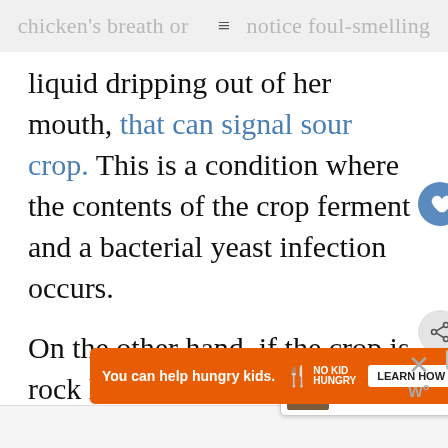chicken's breath or notice foul-smelling
liquid dripping out of her mouth, that can signal sour crop. This is a condition where the contents of the crop ferment and a bacterial yeast infection occurs. On the other hand, if the crop is rock hard and not emptied come morning, that can signal impacted or bloated crop. An impacted crop can press against...